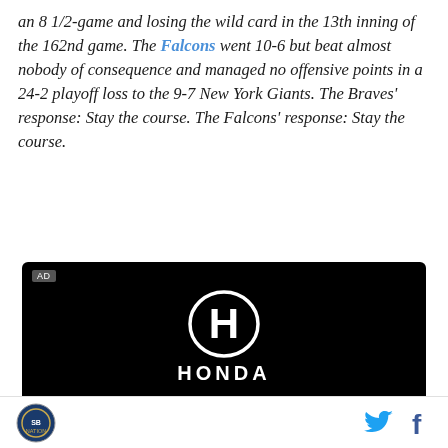an 8 1/2-game and losing the wild card in the 13th inning of the 162nd game. The Falcons went 10-6 but beat almost nobody of consequence and managed no offensive points in a 24-2 playoff loss to the 9-7 New York Giants. The Braves' response: Stay the course. The Falcons' response: Stay the course.
[Figure (photo): Honda advertisement on black background showing Honda logo (H emblem), HONDA wordmark, 'All-New' with decorative lines, 'HR-V' in large bold text, and 'Powered by determination' tagline]
SB Nation logo | Twitter icon | Facebook icon